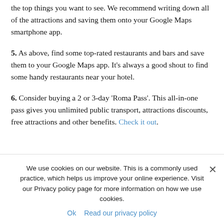the top things you want to see. We recommend writing down all of the attractions and saving them onto your Google Maps smartphone app.
5. As above, find some top-rated restaurants and bars and save them to your Google Maps app. It's always a good shout to find some handy restaurants near your hotel.
6. Consider buying a 2 or 3-day 'Roma Pass'. This all-in-one pass gives you unlimited public transport, attractions discounts, free attractions and other benefits. Check it out .
We use cookies on our website. This is a commonly used practice, which helps us improve your online experience. Visit our Privacy policy page for more information on how we use cookies.
Ok  Read our privacy policy